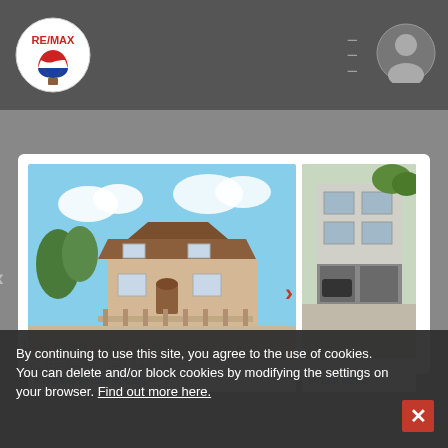[Figure (screenshot): RE/MAX logo in top navigation bar]
[Figure (photo): Real estate listing photo showing a two-story house with iron fence and garden, blue sky background]
[Figure (photo): Partial view of a shophouse with cars parked in front]
ทาวน์เฮ้าส์ ทาวน์เฮ้าส์2ชั้น98
ทาวน์เฮ้าส์2ชั้น
By continuing to use this site, you agree to the use of cookies. You can delete and/or block cookies by modifying the settings on your browser. Find out more here.
Looking for more?
Try these related searches